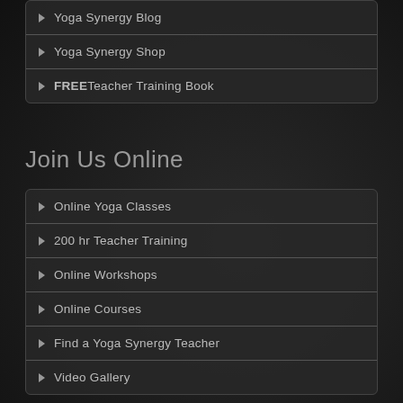Yoga Synergy Blog
Yoga Synergy Shop
FREE Teacher Training Book
Join Us Online
Online Yoga Classes
200 hr Teacher Training
Online Workshops
Online Courses
Find a Yoga Synergy Teacher
Video Gallery